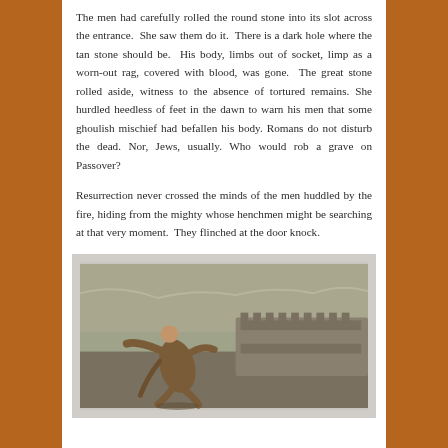The men had carefully rolled the round stone into its slot across the entrance. She saw them do it. There is a dark hole where the tan stone should be. His body, limbs out of socket, limp as a worn-out rag, covered with blood, was gone. The great stone rolled aside, witness to the absence of tortured remains. She hurdled heedless of feet in the dawn to warn his men that some ghoulish mischief had befallen his body. Romans do not disturb the dead. Nor, Jews, usually. Who would rob a grave on Passover?

Resurrection never crossed the minds of the men huddled by the fire, hiding from the mighty whose henchmen might be searching at that very moment. They flinched at the door knock.
[Figure (illustration): A painting depicting a robed figure running urgently across an ancient landscape with stone walls or fortifications in the background under a muted, overcast sky.]